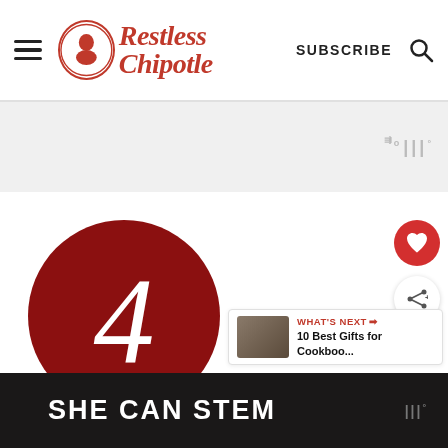Restless Chipotle — SUBSCRIBE
[Figure (screenshot): Gray advertisement band with Wunderman (WD) logo mark on the right]
[Figure (illustration): Large dark red circle with white italic number 4 in the center]
[Figure (infographic): Red heart icon button on the right side]
[Figure (infographic): Share icon button on the right side]
WHAT'S NEXT → 10 Best Gifts for Cookboo...
[Figure (screenshot): Bottom dark banner with SHE CAN STEM text in white bold letters and Wunderman logo]